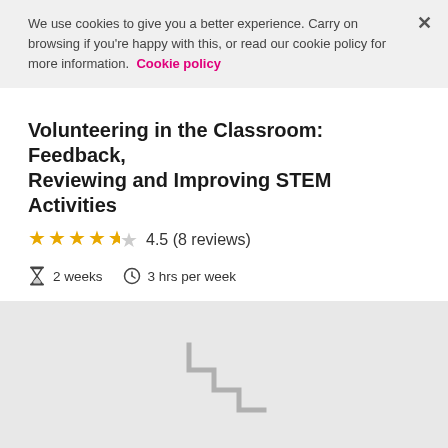We use cookies to give you a better experience. Carry on browsing if you're happy with this, or read our cookie policy for more information. Cookie policy
Volunteering in the Classroom: Feedback, Reviewing and Improving STEM Activities
4.5 (8 reviews)
2 weeks   3 hrs per week
Find out more
[Figure (screenshot): Light grey placeholder area with a staircase/steps graphic in grey outline in the center]